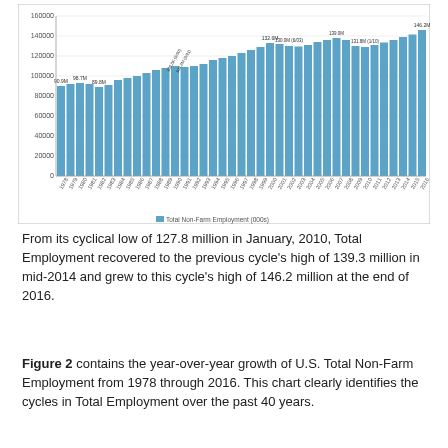[Figure (bar-chart): Total Non-Farm Employment (000s)]
From its cyclical low of 127.8 million in January, 2010, Total Employment recovered to the previous cycle’s high of 139.3 million in mid-2014 and grew to this cycle’s high of 146.2 million at the end of 2016.
Figure 2 contains the year-over-year growth of U.S. Total Non-Farm Employment from 1978 through 2016.  This chart clearly identifies the cycles in Total Employment over the past 40 years.